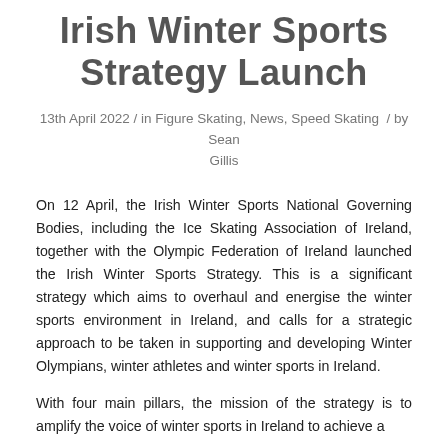Irish Winter Sports Strategy Launch
13th April 2022 / in Figure Skating, News, Speed Skating / by Sean Gillis
On 12 April, the Irish Winter Sports National Governing Bodies, including the Ice Skating Association of Ireland, together with the Olympic Federation of Ireland launched the Irish Winter Sports Strategy. This is a significant strategy which aims to overhaul and energise the winter sports environment in Ireland, and calls for a strategic approach to be taken in supporting and developing Winter Olympians, winter athletes and winter sports in Ireland.
With four main pillars, the mission of the strategy is to amplify the voice of winter sports in Ireland to achieve a